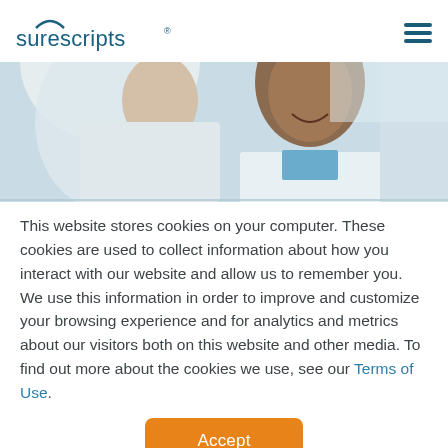surescripts [logo + hamburger menu]
[Figure (photo): Two healthcare professionals in white coats looking down and smiling, bright clinical background]
This website stores cookies on your computer. These cookies are used to collect information about how you interact with our website and allow us to remember you. We use this information in order to improve and customize your browsing experience and for analytics and metrics about our visitors both on this website and other media. To find out more about the cookies we use, see our Terms of Use.
Accept